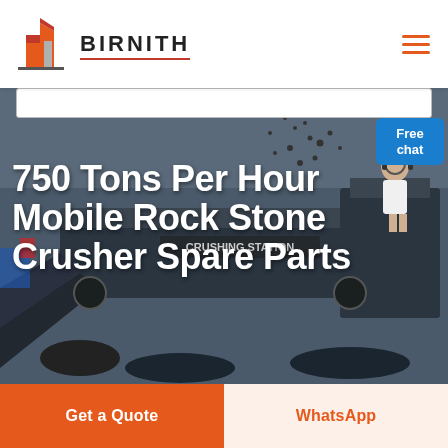[Figure (logo): BIRNITH logo with orange/red building icon and brand name in bold letters with red underline, and hamburger menu icon in orange on right]
[Figure (photo): Dark grayscale photo of a large mobile rock crushing station machine with materials falling, 'CRUSHING STATION' text visible on the machine body]
750 Tons Per Hour Mobile Rock Stone Crusher Spare Parts
Free chat
Get a Quote
WhatsApp